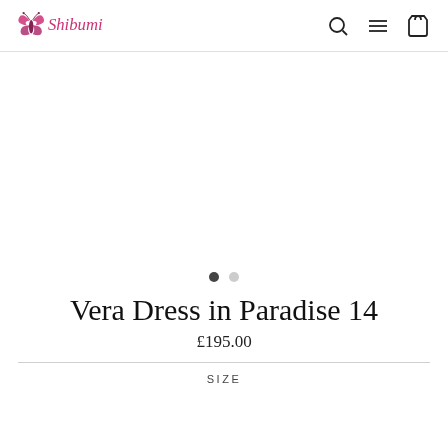Shibumi
[Figure (illustration): Large blank white product image area for dress]
Vera Dress in Paradise 14
£195.00
SIZE